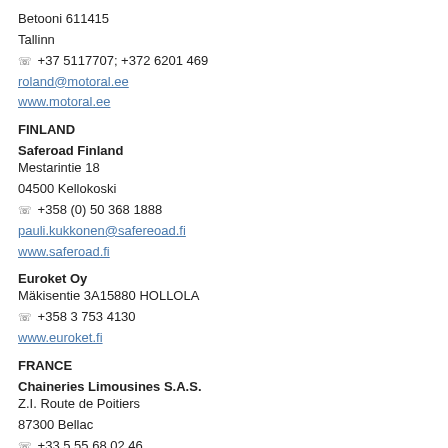Betooni 611415
Tallinn
☏ +37 5117707; +372 6201 469
roland@motoral.ee
www.motoral.ee
FINLAND
Saferoad Finland
Mestarintie 18
04500 Kellokoski
☏ +358 (0) 50 368 1888
pauli.kukkonen@safereoad.fi
www.saferoad.fi
Euroket Oy
Mäkisentie 3A15880 HOLLOLA
☏ +358 3 753 4130
www.euroket.fi
FRANCE
Chaineries Limousines S.A.S.
Z.I. Route de Poitiers
87300 Bellac
☏ +33 5 55 68 02 46
F   +33 5 55 68 75 75
chainlim@chainlim.com
www.chainlim.com